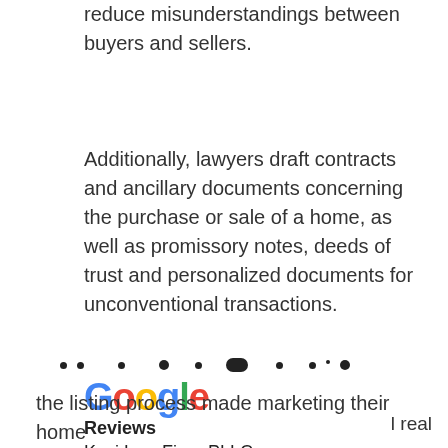amendments to alleviate ambiguities and reduce misunderstandings between buyers and sellers.
Additionally, lawyers draft contracts and ancillary documents concerning the purchase or sale of a home, as well as promissory notes, deeds of trust and personalized documents for unconventional transactions.
[Figure (logo): Google Reviews logo with Kazi Law Firm, PLLC and 5.0 star rating]
the listing process made marketing their home